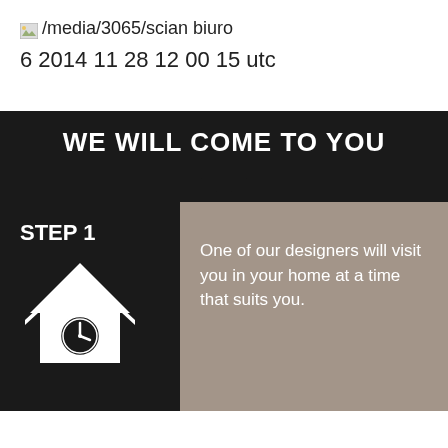[Figure (other): Broken image icon with path text /media/3065/scian biuro]
6 2014 11 28 12 00 15 utc
WE WILL COME TO YOU
STEP 1
One of our designers will visit you in your home at a time that suits you.